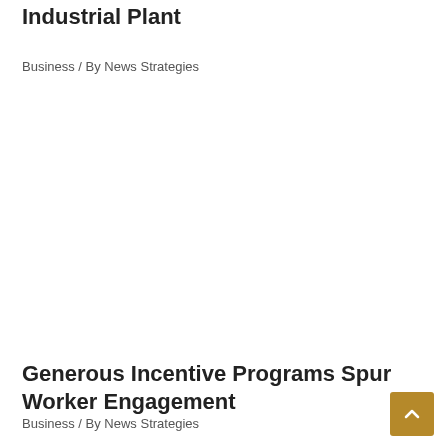Industrial Plant
Business / By News Strategies
Generous Incentive Programs Spur Worker Engagement
Business / By News Strategies